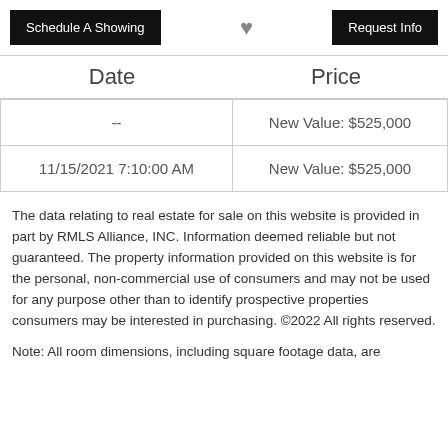Schedule A Showing | [heart] | Request Info
| Date | Price |
| --- | --- |
| -- | New Value: $525,000 |
| 11/15/2021 7:10:00 AM | New Value: $525,000 |
The data relating to real estate for sale on this website is provided in part by RMLS Alliance, INC. Information deemed reliable but not guaranteed. The property information provided on this website is for the personal, non-commercial use of consumers and may not be used for any purpose other than to identify prospective properties consumers may be interested in purchasing. ©2022 All rights reserved.
Note: All room dimensions, including square footage data, are